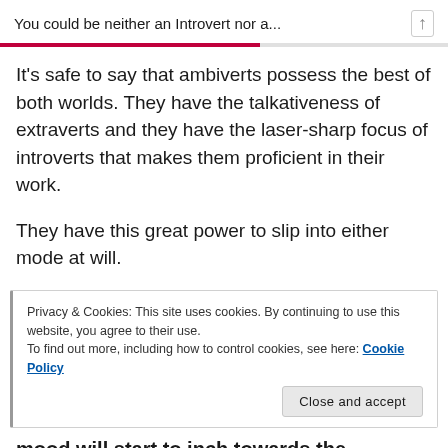You could be neither an Introvert nor a...
It’s safe to say that ambiverts possess the best of both worlds. They have the talkativeness of extraverts and they have the laser-sharp focus of introverts that makes them proficient in their work.
They have this great power to slip into either mode at will.
Privacy & Cookies: This site uses cookies. By continuing to use this website, you agree to their use.
To find out more, including how to control cookies, see here: Cookie Policy
mood will start to inch towards the introvert zone.